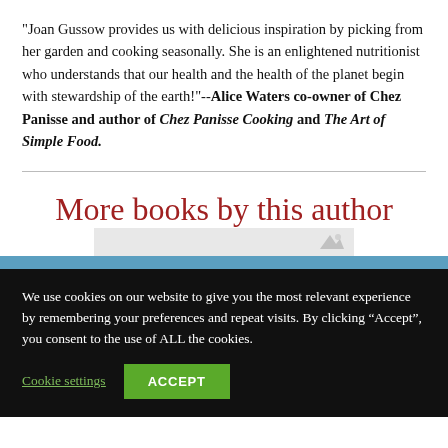"Joan Gussow provides us with delicious inspiration by picking from her garden and cooking seasonally. She is an enlightened nutritionist who understands that our health and the health of the planet begin with stewardship of the earth!"--Alice Waters co-owner of Chez Panisse and author of Chez Panisse Cooking and The Art of Simple Food.
More books by this author
[Figure (screenshot): Partial book cover image preview, cut off at bottom]
We use cookies on our website to give you the most relevant experience by remembering your preferences and repeat visits. By clicking “Accept”, you consent to the use of ALL the cookies.
Cookie settings  ACCEPT